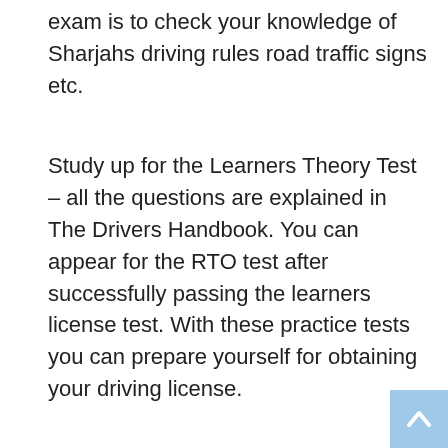exam is to check your knowledge of Sharjahs driving rules road traffic signs etc.
Study up for the Learners Theory Test – all the questions are explained in The Drivers Handbook. You can appear for the RTO test after successfully passing the learners license test. With these practice tests you can prepare yourself for obtaining your driving license.
See also  How To Learning Licence Test
You wont be able to sit the practical and obtain your driving licence. With free book code valid for 7 days. Warning signs Vision.